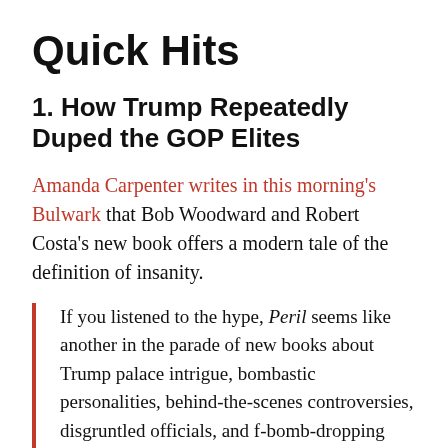Quick Hits
1. How Trump Repeatedly Duped the GOP Elites
Amanda Carpenter writes in this morning's Bulwark that Bob Woodward and Robert Costa's new book offers a modern tale of the definition of insanity.
If you listened to the hype, Peril seems like another in the parade of new books about Trump palace intrigue, bombastic personalities, behind-the-scenes controversies, disgruntled officials, and f-bomb-dropping pols. It is all that. But tucked in the book's pages is another story—a